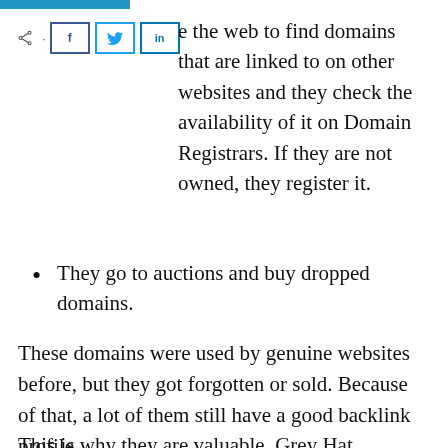e the web to find domains that are linked to on other websites and they check the availability of it on Domain Registrars. If they are not owned, they register it.
They go to auctions and buy dropped domains.
These domains were used by genuine websites before, but they got forgotten or sold. Because of that, a lot of them still have a good backlink profile.
This is why they are valuable. Grey Hat